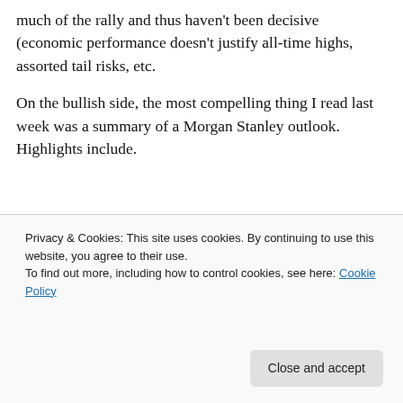much of the rally and thus haven't been decisive (economic performance doesn't justify all-time highs, assorted tail risks, etc.
On the bullish side, the most compelling thing I read last week was a summary of a Morgan Stanley outlook. Highlights include.
[Figure (screenshot): Advertisement banner with text 'than a week', a green 'Explore options' button, and app mockup showing food and lifestyle images with a logo A.]
Privacy & Cookies: This site uses cookies. By continuing to use this website, you agree to their use.
To find out more, including how to control cookies, see here: Cookie Policy